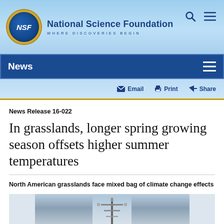National Science Foundation — WHERE DISCOVERIES BEGIN
News
Email  Print  Share
News Release 16-022
In grasslands, longer spring growing season offsets higher summer temperatures
North American grasslands face mixed bag of climate change effects
[Figure (photo): Photograph of a weather station or instrument mast against a cloudy sky, depicted at the bottom of the article]